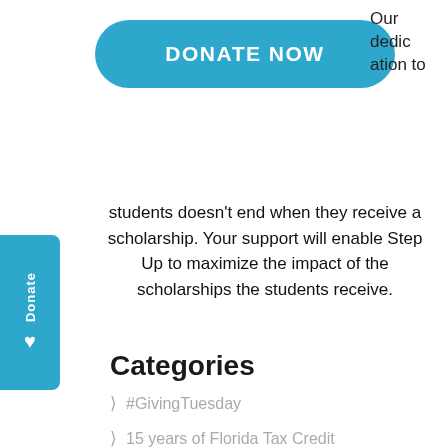[Figure (other): Blue rounded button labeled DONATE NOW]
Our dedication to students doesn't end when they receive a scholarship. Your support will enable Step Up to maximize the impact of the scholarships the students receive.
[Figure (other): Blue vertical side tab with 'Donate' text rotated and a heart icon]
Categories
#GivingTuesday
15 years of Florida Tax Credit
20 years of Educational Opportunity